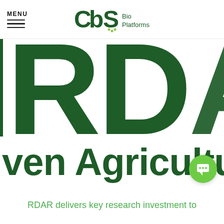MENU — CBS Bio Platforms
[Figure (logo): CBS Bio Platforms logo with stylized CBS letters in dark green and 'Bio Platforms' text]
[Figure (photo): Large cropped green text 'RDA' on white background, partially cropped, showing letters R, D, A in dark green bold font]
[Figure (other): Large cropped dark green text reading 'ven Agricultur' — part of 'Driven Agriculture' — on white background]
RDAR delivers key research investment to